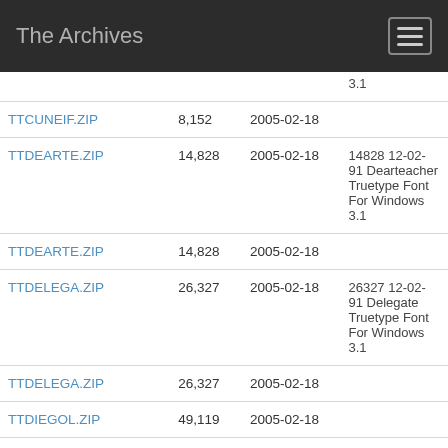The Archives
| Name | Size | Date | Description |
| --- | --- | --- | --- |
|  |  |  | 3.1 |
| TTCUNEIF.ZIP | 8,152 | 2005-02-18 |  |
| TTDEARTE.ZIP | 14,828 | 2005-02-18 | 14828 12-02-91 Dearteacher Truetype Font For Windows 3.1 |
| TTDEARTE.ZIP | 14,828 | 2005-02-18 |  |
| TTDELEGA.ZIP | 26,327 | 2005-02-18 | 26327 12-02-91 Delegate Truetype Font For Windows 3.1 |
| TTDELEGA.ZIP | 26,327 | 2005-02-18 |  |
| TTDIEGOL.ZIP | 49,119 | 2005-02-18 |  |
| TTDIEGOL.ZIP | 49,119 | 2005-02-18 | 49119 12-02-91 Diego Light Truetype Font For Windows 3.1 |